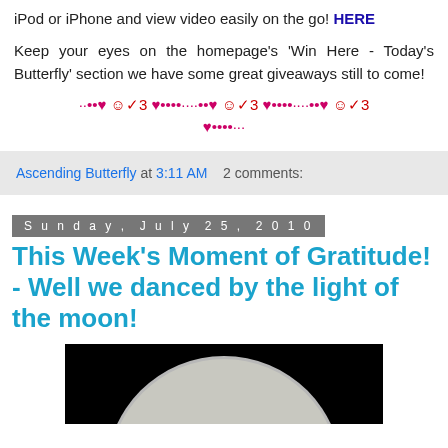iPod or iPhone and view video easily on the go! HERE
Keep your eyes on the homepage's 'Win Here - Today's Butterfly' section we have some great giveaways still to come!
[Figure (illustration): Decorative divider with hearts, dots, and ornamental symbols in pink/red colors]
Ascending Butterfly at 3:11 AM   2 comments:
Sunday, July 25, 2010
This Week's Moment of Gratitude! - Well we danced by the light of the moon!
[Figure (photo): Photo of the moon against a black background, showing the lunar surface]